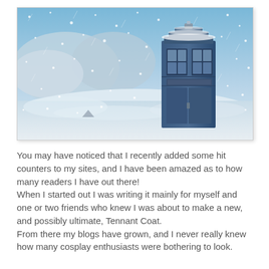[Figure (photo): A blue police box (TARDIS from Doctor Who) standing in a snowy, wintry landscape with snowflakes falling around it. The sky is blue with snow-covered rocky terrain in the background.]
You may have noticed that I recently added some hit counters to my sites, and I have been amazed as to how many readers I have out there!
When I started out I was writing it mainly for myself and one or two friends who knew I was about to make a new, and possibly ultimate, Tennant Coat.
From there my blogs have grown, and I never really knew how many cosplay enthusiasts were bothering to look.